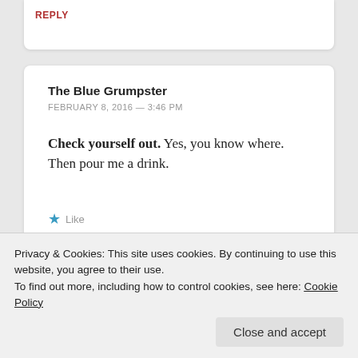REPLY
The Blue Grumpster
FEBRUARY 8, 2016 — 3:46 PM

Check yourself out. Yes, you know where.
Then pour me a drink.

★ Like

REPLY
Privacy & Cookies: This site uses cookies. By continuing to use this website, you agree to their use.
To find out more, including how to control cookies, see here: Cookie Policy

Close and accept